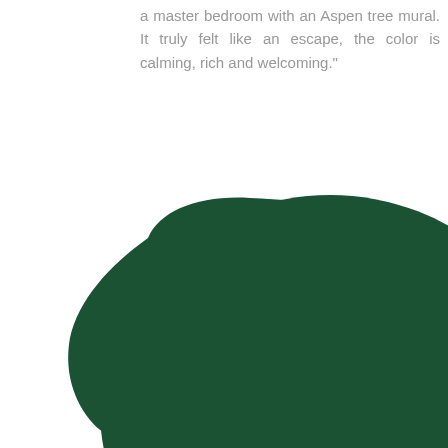a master bedroom with an Aspen tree mural. It truly felt like an escape, the color is calming, rich and welcoming."
[Figure (illustration): Large dark forest green circle/blob shape, partially cropped at bottom and right edges, on white background — a paint color swatch or decorative color blob.]